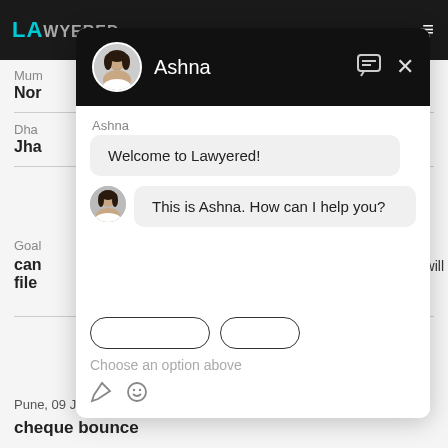[Figure (screenshot): Screenshot of Lawyered website with a chat overlay. The top bar shows the Lawyered logo in teal. The background shows lawyer listing items partially visible. The chat overlay shows a conversation with Ashna: 'Welcome to Lawyered!' and 'This is Ashna. How can I help you?' with a text input area showing 'Choose an option above'.]
Mum
Nor
Dha
Jha
Goal
can file
will
Pune,  09 Jan, 2022,  (7 months, 3 weeks ago)
cheque bounce